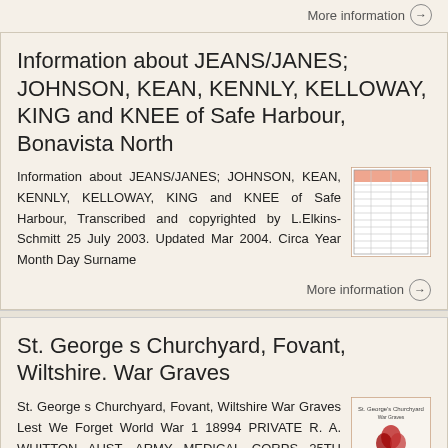More information →
Information about JEANS/JANES; JOHNSON, KEAN, KENNLY, KELLOWAY, KING and KNEE of Safe Harbour, Bonavista North
Information about JEANS/JANES; JOHNSON, KEAN, KENNLY, KELLOWAY, KING and KNEE of Safe Harbour, Transcribed and copyrighted by L.Elkins-Schmitt 25 July 2003. Updated Mar 2004. Circa Year Month Day Surname
[Figure (table-as-image): Thumbnail image of a genealogy record table]
More information →
St. George s Churchyard, Fovant, Wiltshire. War Graves
St. George s Churchyard, Fovant, Wiltshire War Graves Lest We Forget World War 1 18994 PRIVATE R. A. WHITTON AUST. ARMY MEDICAL CORPS 25TH OCTOBER,
[Figure (photo): Thumbnail image of a war graves memorial document with red poppy]